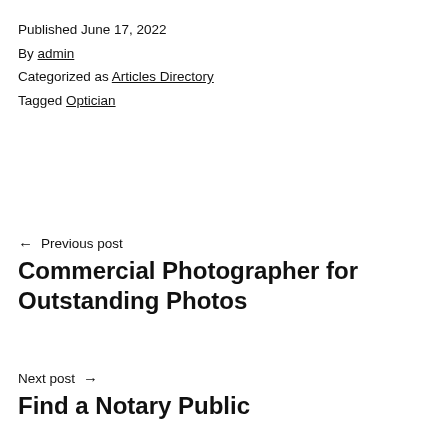Published June 17, 2022
By admin
Categorized as Articles Directory
Tagged Optician
← Previous post
Commercial Photographer for Outstanding Photos
Next post →
Find a Notary Public